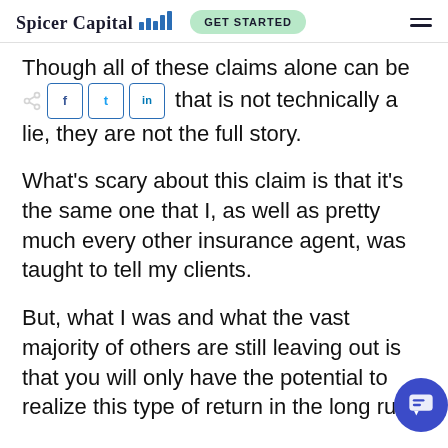Spicer Capital — GET STARTED
Though all of these claims alone can be worded in a way that is not technically a lie, they are not the full story.
What's scary about this claim is that it's the same one that I, as well as pretty much every other insurance agent, was taught to tell my clients.
But, what I was and what the vast majority of others are still leaving out is that you will only have the potential to realize this type of return in the long run.